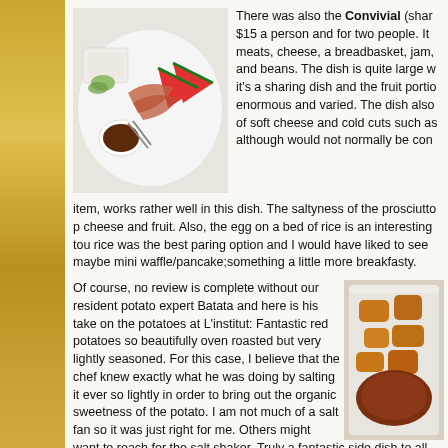[Figure (photo): Top-down view of a food spread on a white plate including sliced meats, cheese, fruits, a small bowl of dark sauce, and garnishes]
There was also the Convivial (shar $15 a person and for two people. It meats, cheese, a breadbasket, jam, and beans. The dish is quite large w it's a sharing dish and the fruit portio enormous and varied. The dish also of soft cheese and cold cuts such as although would not normally be con
item, works rather well in this dish. The saltyness of the prosciutto p cheese and fruit. Also, the egg on a bed of rice is an interesting tou rice was the best paring option and I would have liked to see maybe mini waffle/pancake;something a little more breakfasty.
Of course, no review is complete without our resident potato expert Batata and here is his take on the potatoes at L'institut: Fantastic red potatoes so beautifully oven roasted but very lightly seasoned. For this case, I believe that the chef knew exactly what he was doing by salting it ever so lightly in order to bring out the organic sweetness of the potato. I am not much of a salt fan so it was just right for me. Others might want to reach for the salt shaker. Truly a fantastic side dish to all po ask for it as a side since it isn't explicitly stated on the menu. I woul for the price I was paying but that is due to them being so tasty and quantity. A must have if you visit.
[Figure (photo): Close-up of roasted potatoes and possibly meat on a plate]